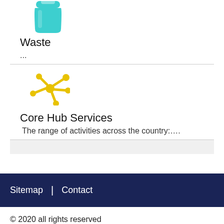[Figure (illustration): Teal/cyan waste bin icon]
Waste
...
[Figure (illustration): Yellow network/hub connector icon]
Core Hub Services
The range of activities across the country:....
Sitemap | Contact
© 2020 all rights reserved